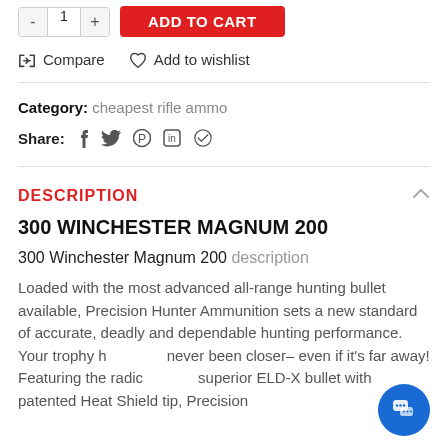- 1 + ADD TO CART
Compare  Add to wishlist
Category: cheapest rifle ammo
Share:
DESCRIPTION
300 WINCHESTER MAGNUM 200
300 Winchester Magnum 200 description
Loaded with the most advanced all-range hunting bullet available, Precision Hunter Ammunition sets a new standard of accurate, deadly and dependable hunting performance. Your trophy has never been closer– even if it's far away! Featuring the radically superior ELD-X bullet with patented Heat Shield tip, Precision